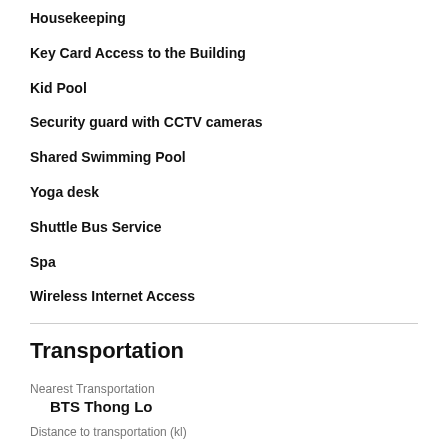Housekeeping
Key Card Access to the Building
Kid Pool
Security guard with CCTV cameras
Shared Swimming Pool
Yoga desk
Shuttle Bus Service
Spa
Wireless Internet Access
Transportation
Nearest Transportation
BTS Thong Lo
Distance to transportation (kl)